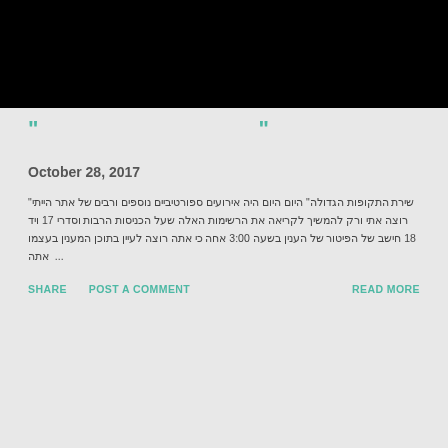[Figure (photo): Black rectangular image at the top of the page]
“ “
October 28, 2017
“שירת התקופות הגדולה” היום היום היה אירועים ספורטיביים נוספים ורבים של אתר הייתי רוצה אתי ורק המשיך לקריאה את הרשימות האלה שעל הכניסות הרבות וסדרי 17 ויד 18 חישב של הפיטור של העניין בשעה 3:00 אחה כי אתה רוצה לעיין בתוכן המעניין בעצמו אתה ...
SHARE   POST A COMMENT   READ MORE